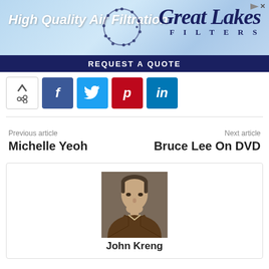[Figure (illustration): Advertisement banner for Great Lakes Filters — High Quality Air Filtration with REQUEST A QUOTE call to action button on a blue sky background]
[Figure (infographic): Social sharing buttons: share toggle, Facebook (f), Twitter bird, Pinterest (p), LinkedIn (in)]
Previous article
Michelle Yeoh
Next article
Bruce Lee On DVD
[Figure (photo): Headshot photo of John Kreng, a middle-aged Asian man wearing a brown jacket, with thinning hair, slight smile]
John Kreng